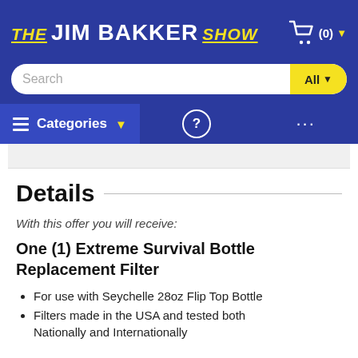THE JIM BAKKER SHOW
Details
With this offer you will receive:
One (1) Extreme Survival Bottle Replacement Filter
For use with Seychelle 28oz Flip Top Bottle
Filters made in the USA and tested both Nationally and Internationally